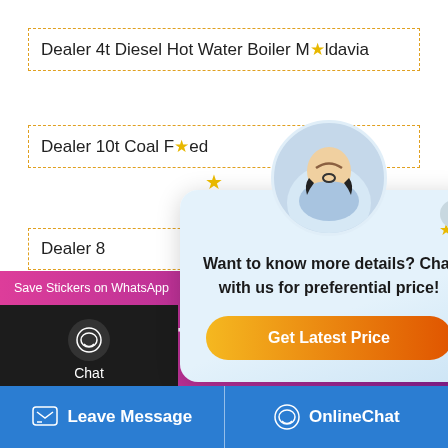Dealer 4t Diesel Hot Water Boiler Moldavia
Dealer 10t Coal F...
Dealer 8...
[Figure (screenshot): Chat popup overlay with customer service agent photo, text 'Want to know more details? Chat with us for preferential price!' and orange 'Get Latest Price' button]
[Figure (screenshot): Left sidebar with Chat, Email, Contact icons on dark background]
[Figure (screenshot): Blue banner area with partial text and upload arrow button]
[Figure (screenshot): WhatsApp sticker save bar with pink/purple gradient, phone and emoji icons, and 'Save Stickers on WhatsApp' text]
[Figure (screenshot): Bottom bar with 'Leave Message' and 'OnlineChat' buttons on blue background]